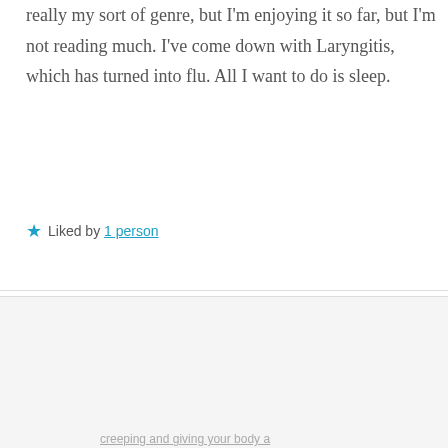really my sort of genre, but I'm enjoying it so far, but I'm not reading much. I've come down with Laryngitis, which has turned into flu. All I want to do is sleep.
★ Liked by 1 person
Privacy & Cookies: This site uses cookies. By continuing to use this website, you agree to their use. To find out more, including how to control cookies, see here: Cookie Policy
Close and accept
creeping and giving your body a